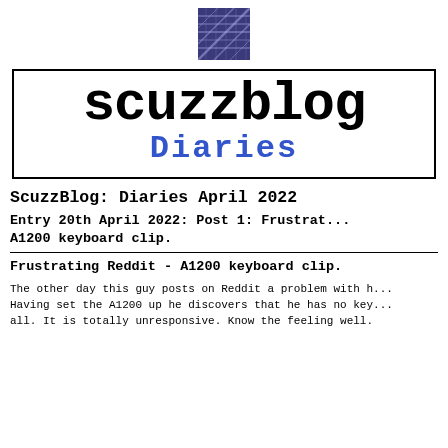[Figure (logo): ScuzzBlog logo — small square image with dark blue diagonal stripes pattern]
scuzzblog
Diaries
ScuzzBlog: Diaries April 2022
Entry 20th April 2022: Post 1: Frustrat... A1200 keyboard clip.
Frustrating Reddit - A1200 keyboard clip.
The other day this guy posts on Reddit a problem with h... Having set the A1200 up he discovers that he has no key... all. It is totally unresponsive. Know the feeling well.